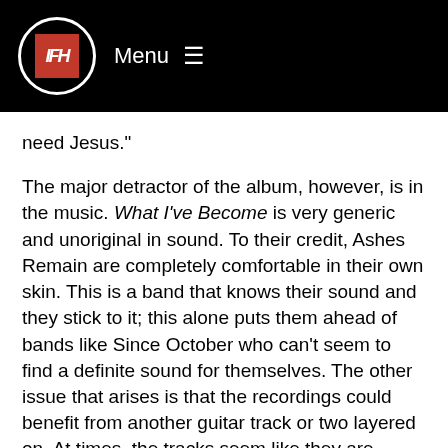IFH Menu
need Jesus."
The major detractor of the album, however, is in the music. What I've Become is very generic and unoriginal in sound. To their credit, Ashes Remain are completely comfortable in their own skin. This is a band that knows their sound and they stick to it; this alone puts them ahead of bands like Since October who can't seem to find a definite sound for themselves. The other issue that arises is that the recordings could benefit from another guitar track or two layered on. At times, the tracks seem like they are meant to be a little heavier, but it doesn't come across as such in the recording.
If you are a fan of the everyday average modern rock played in constant rotation on radio stations these days, Ashes Remain are right up your alley. They bring just enough on the side of catchy hooks with What I've Become